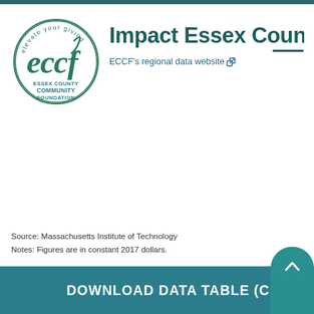[Figure (logo): ECCF Essex County Community Foundation circular logo with green text reading 'elevate your giving' around the top, 'eccf' in large green cursive in the center, and 'ESSEX COUNTY COMMUNITY FOUNDATION' in teal text at the bottom]
Impact Essex Coun
ECCF's regional data website
Source: Massachusetts Institute of Technology
Notes: Figures are in constant 2017 dollars.
DOWNLOAD DATA TABLE (CSV)